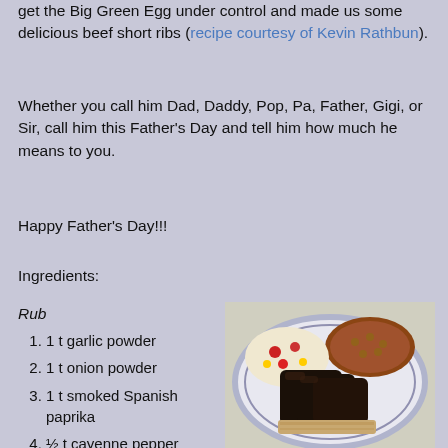get the Big Green Egg under control and made us some delicious beef short ribs (recipe courtesy of Kevin Rathbun).
Whether you call him Dad, Daddy, Pop, Pa, Father, Gigi, or Sir, call him this Father's Day and tell him how much he means to you.
Happy Father's Day!!!
Ingredients:
Rub
1 t garlic powder
1 t onion powder
1 t smoked Spanish paprika
½ t cayenne pepper
[Figure (photo): A plate of smoked beef short ribs served with baked beans and pasta salad with tomatoes]
Smoked Beef Short Ribs